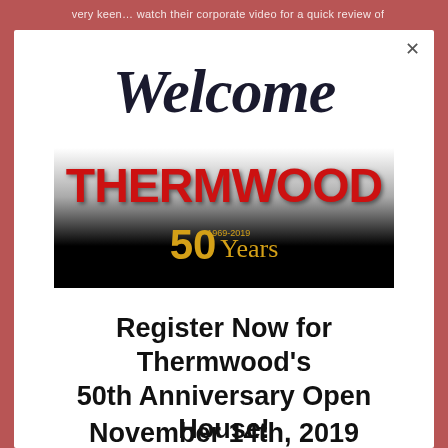very keen… watch their corporate video for a quick review of
Welcome
[Figure (logo): Thermwood logo with '50 Years 1969-2019' anniversary badge on dark gradient background]
Register Now for Thermwood's 50th Anniversary Open House!
November 14th, 2019